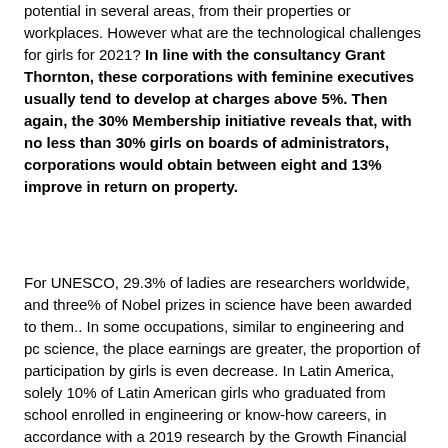potential in several areas, from their properties or workplaces. However what are the technological challenges for girls for 2021? In line with the consultancy Grant Thornton, these corporations with feminine executives usually tend to develop at charges above 5%. Then again, the 30% Membership initiative reveals that, with no less than 30% girls on boards of administrators, corporations would obtain between eight and 13% improve in return on property.
For UNESCO, 29.3% of ladies are researchers worldwide, and three% of Nobel prizes in science have been awarded to them.. In some occupations, similar to engineering and pc science, the place earnings are greater, the proportion of participation by girls is even decrease. In Latin America, solely 10% of Latin American girls who graduated from school enrolled in engineering or know-how careers, in accordance with a 2019 research by the Growth Financial institution of Latin America CAF.